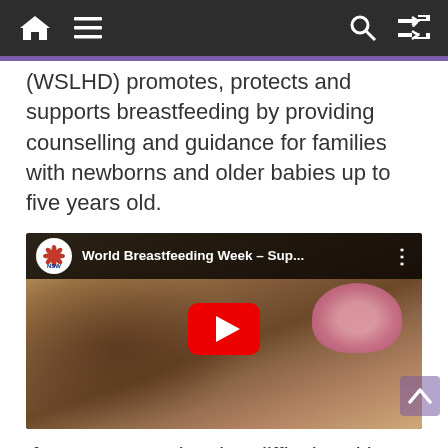Navigation bar with home, menu, search, and shuffle icons
(WSLHD) promotes, protects and supports breastfeeding by providing counselling and guidance for families with newborns and older babies up to five years old.
[Figure (screenshot): YouTube video thumbnail showing a mother and baby. Video title: 'World Breastfeeding Week – Sup...' with NSW government logo.]
If you are experiencing difficulty with